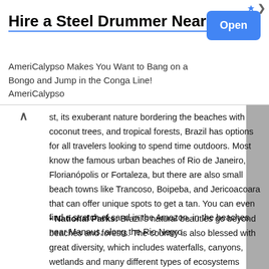[Figure (other): Advertisement banner for AmeriCalypso with title 'Hire a Steel Drummer Near Me', subtitle text, and an Open button]
st, its exuberant nature bordering the beaches with coconut trees, and tropical forests, Brazil has options for all travelers looking to spend time outdoors. Most know the famous urban beaches of Rio de Janeiro, Florianópolis or Fortaleza, but there are also small beach towns like Trancoso, Boipeba, and Jericoacoara that can offer unique spots to get a tan. You can even find a stretch of sand in the Amazon, in the beaches near Manaus, along the Rio Negro.
• National Parks: Brazil's natural beauties go beyond beaches and forests. The country is also blessed with great diversity, which includes waterfalls, canyons, wetlands and many different types of ecosystems throughout its many national parks. Think- Iguazu Falls, one of the most important forest reserves in South America. Another highlight is the Pantanal, in the central region of the country